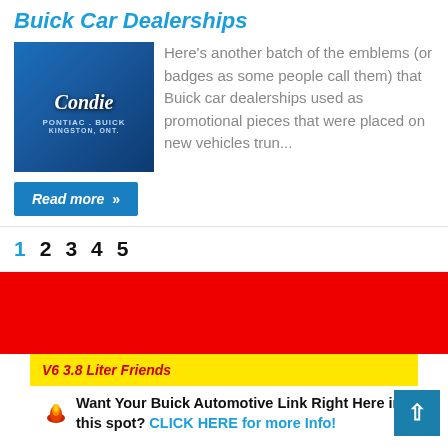Buick Car Dealerships
[Figure (photo): Photo of a Condie Pontiac Buick dealership metal emblem/badge, silver on blue background, with text 'Condie Pontiac Buick Kingston, Ont.']
Here's another batch of the emblems (or badges as some people call them) that Buick car dealerships used as promotional pieces that were placed on new vehicles trun...
Read more »
1  2  3  4  5
V6 3.8 Liter Friends
🔥 Want Your Buick Automotive Link Right Here in this spot? CLICK HERE for more Info!
🔥 THIS spot available!